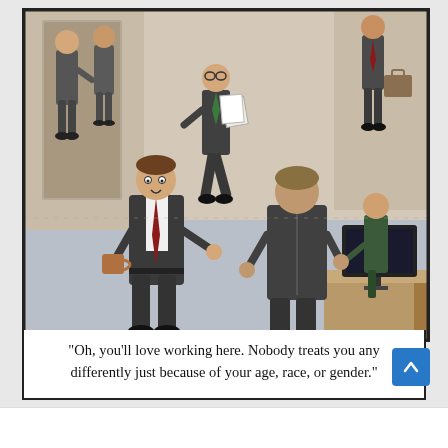[Figure (illustration): Office workplace cartoon showing multiple employees in business suits in an open office environment. One man holding a coffee cup gestures while speaking to a colleague whose back is to the viewer. In the background, another employee walks carrying papers, two people stand near a doorway at top left, a person stands at top right, and someone sits at a desk with a computer monitor at the right side.]
“Oh, you’ll love working here. Nobody treats you any differently just because of your age, race, or gender.”